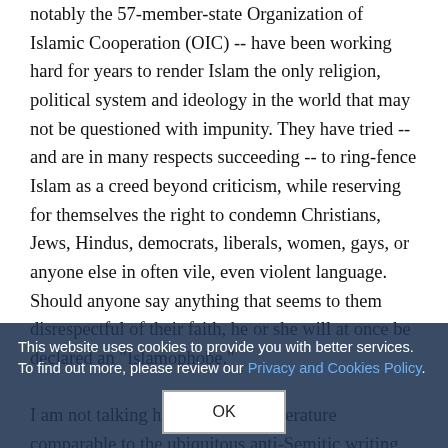notably the 57-member-state Organization of Islamic Cooperation (OIC) -- have been working hard for years to render Islam the only religion, political system and ideology in the world that may not be questioned with impunity. They have tried -- and are in many respects succeeding -- to ring-fence Islam as a creed beyond criticism, while reserving for themselves the right to condemn Christians, Jews, Hindus, democrats, liberals, women, gays, or anyone else in often vile, even violent language. Should anyone say anything that seems to them disrespectful of their faith, he or she will at once be declared an "Islamophobe."

I am not talking here about hate literature comparable to the ubiquitous anti-Semitic writing so freely available on the internet. Much milder things have fallen and continue the more obvious: a novel, a bunch of cartoons, some films, some political speech and a few blogs which have resulted in savage floggings, imprisonment, torture,
This website uses cookies to provide you with better services. To find out more, please review our Privacy and Cookies Policy.
OK